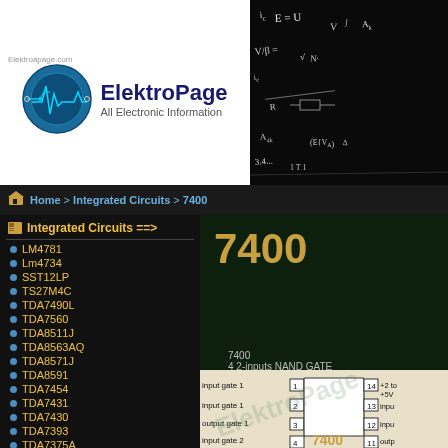[Figure (logo): ElektroPage logo with circuit board circle icon, title 'ElektroPage' and subtitle 'All Electronic Information', domain label 'Elektroapage.com']
[Figure (photo): Dark background with white handwritten electronic/math formulas and circuit diagrams]
Home > Integrated Circuits > 7400
Integrated Circuits ==>
LM4781
Lm4734
SST12LP
TS27M4C
TDA7490L
TDA7560
TDA8511J
TDA8563AQ
TDA8571J
TDA8591
TDA7454
TDA7431
TDA7430
TDA7393
TDA7375A
TDA7346
TDA7299
TDA7295
TDA7293
TDA7269
TDA7268
7400
7400
4 2-inputs NAND GATE
[Figure (engineering-diagram): 7400 IC pinout diagram showing input gate 1 pins 1,2; output gate 1 pin 3; input gate 2 pin 4; pins 11-14 on right side showing +2 to +5V, input, input, output labels; chip labeled 7400 in center]